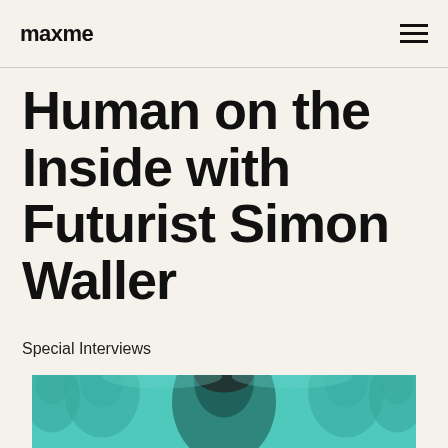maxme
Human on the Inside with Futurist Simon Waller
Special Interviews
[Figure (photo): Teal/turquoise tinted composite photo of a man (futurist Simon Waller) with multiple overlapping face images against a teal background]